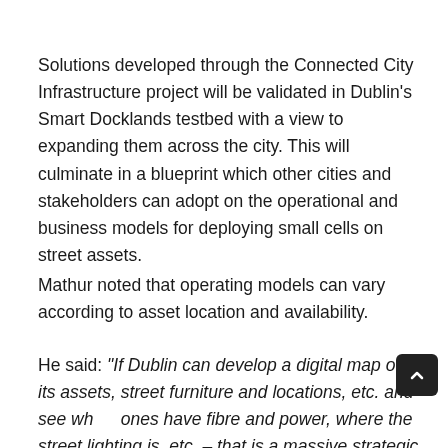Solutions developed through the Connected City Infrastructure project will be validated in Dublin's Smart Docklands testbed with a view to expanding them across the city. This will culminate in a blueprint which other cities and stakeholders can adopt on the operational and business models for deploying small cells on street assets.
Mathur noted that operating models can vary according to asset location and availability.
He said: “If Dublin can develop a digital map of all its assets, street furniture and locations, etc. and see which ones have fibre and power, where the street lighting is, etc. – that is a massive strategic asset that they can